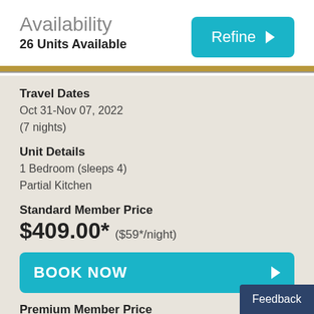Availability
26 Units Available
Travel Dates
Oct 31-Nov 07, 2022
(7 nights)
Unit Details
1 Bedroom (sleeps 4)
Partial Kitchen
Standard Member Price
$409.00* ($59*/night)
BOOK NOW
Premium Member Price
$389.00* ($56*/night)
Feedback